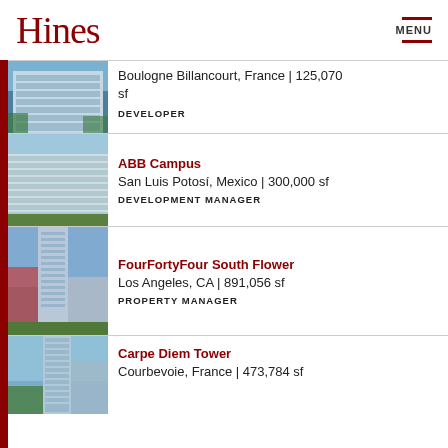Hines | MENU
Boulogne Billancourt, France | 125,070 sf
DEVELOPER
ABB Campus
San Luis Potosí, Mexico | 300,000 sf
DEVELOPMENT MANAGER
FourFortyFour South Flower
Los Angeles, CA | 891,056 sf
PROPERTY MANAGER
Carpe Diem Tower
Courbevoie, France | 473,784 sf